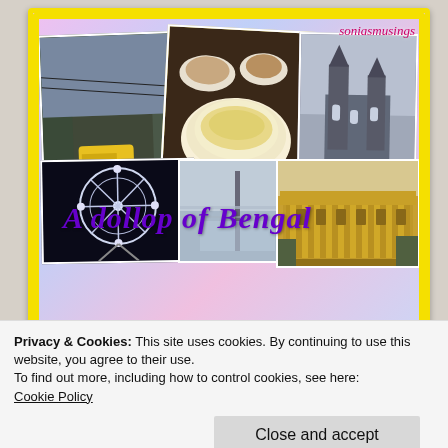[Figure (photo): Blog header image collage showing street scene with auto-rickshaw, food dish (biryani/rice), Gothic church, Ferris wheel at night, hazy scene, and colonial building. Title overlay reads 'A dollop of Bengal'. Watermark 'soniasmusings' in pink italic. Yellow scalloped border frame. Below collage: tan/khaki band with purple italic text 'Chandni Chowk to China Town']
Privacy & Cookies: This site uses cookies. By continuing to use this website, you agree to their use.
To find out more, including how to control cookies, see here:
Cookie Policy
Close and accept